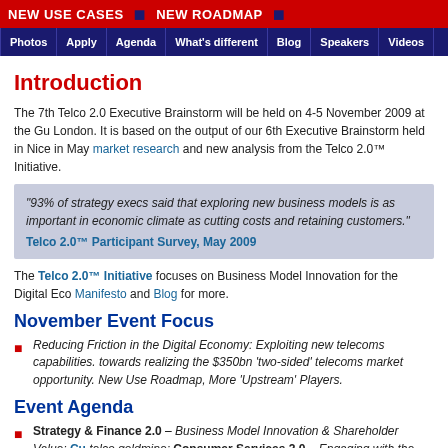NEW USE CASES • NEW ROADMAP •
Photos | Apply | Agenda | What's different | Blog | Speakers | Videos
Introduction
The 7th Telco 2.0 Executive Brainstorm will be held on 4-5 November 2009 at the Gu London. It is based on the output of our 6th Executive Brainstorm held in Nice in May market research and new analysis from the Telco 2.0™ Initiative.
"93% of strategy execs said that exploring new business models is as important in economic climate as cutting costs and retaining customers." Telco 2.0™ Participant Survey, May 2009
The Telco 2.0™ Initiative focuses on Business Model Innovation for the Digital Eco Manifesto and Blog for more.
November Event Focus
Reducing Friction in the Digital Economy: Exploiting new telecoms capabilities. towards realizing the $350bn 'two-sided' telecoms market opportunity. New Use Roadmap, More 'Upstream' Players.
Event Agenda
Strategy & Finance 2.0 – Business Model Innovation & Shareholder Value; Cu telco goldmine; Consumer Services 2.0 – Engaging with the 'digital generation Broadband 2.0 – Addressing Capacity Crunch; Digital Money 2.0 – Strategi